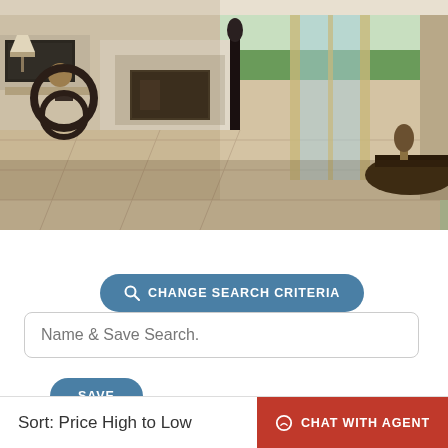[Figure (photo): Interior photo of a luxury home living room with marble tile floors, a white fireplace, black decorative sculpture, a lamp on a side table, and large glass French doors opening to an outdoor pool and garden area.]
CHANGE SEARCH CRITERIA
Name & Save Search.
SAVE
Sort: Price High to Low
CHAT WITH AGENT